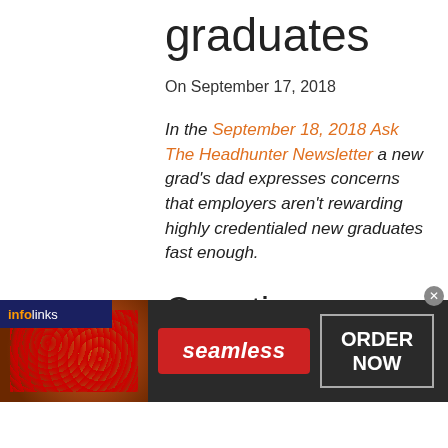graduates
On September 17, 2018
In the September 18, 2018 Ask The Headhunter Newsletter a new grad's dad expresses concerns that employers aren't rewarding highly credentialed new graduates fast enough.
Question
““
[Figure (illustration): An emoji face with a skeptical or rolling-eyes expression — yellow circle face with raised eyebrow and rolled eyes]
[Figure (screenshot): Infolinks advertisement bar at the bottom showing a Seamless food delivery ad with pizza image, red Seamless button, and ORDER NOW button in a dark background banner]